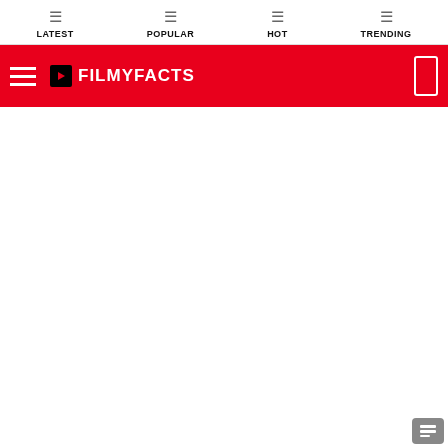LATEST | POPULAR | HOT | TRENDING
FILMYFACTS
[Figure (screenshot): Website header screenshot showing FilmyFacts navigation bar with LATEST, POPULAR, HOT, TRENDING menu items and red header with logo]